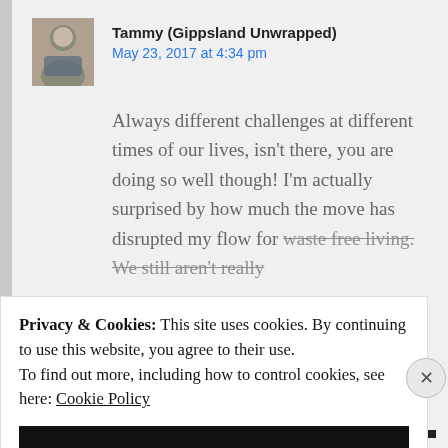[Figure (photo): Small avatar photo of a person, used as commenter profile image]
Tammy (Gippsland Unwrapped)
May 23, 2017 at 4:34 pm
Always different challenges at different times of our lives, isn't there, you are doing so well though! I'm actually surprised by how much the move has disrupted my flow for waste free living. We still aren't really
Privacy & Cookies: This site uses cookies. By continuing to use this website, you agree to their use.
To find out more, including how to control cookies, see here: Cookie Policy
CLOSE AND ACCEPT